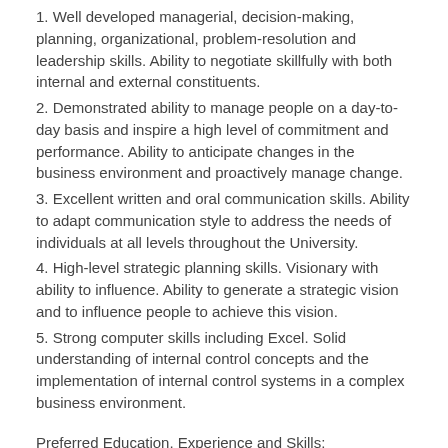1. Well developed managerial, decision-making, planning, organizational, problem-resolution and leadership skills. Ability to negotiate skillfully with both internal and external constituents.
2. Demonstrated ability to manage people on a day-to-day basis and inspire a high level of commitment and performance. Ability to anticipate changes in the business environment and proactively manage change.
3. Excellent written and oral communication skills. Ability to adapt communication style to address the needs of individuals at all levels throughout the University.
4. High-level strategic planning skills. Visionary with ability to influence. Ability to generate a strategic vision and to influence people to achieve this vision.
5. Strong computer skills including Excel. Solid understanding of internal control concepts and the implementation of internal control systems in a complex business environment.
Preferred Education, Experience and Skills:
1. Master's degree in business and or related field.
2. Finance and budgeting experience in an institution of higher education.
Salary and Benefits
We invite you to discover the excitement, diversity, rewards and